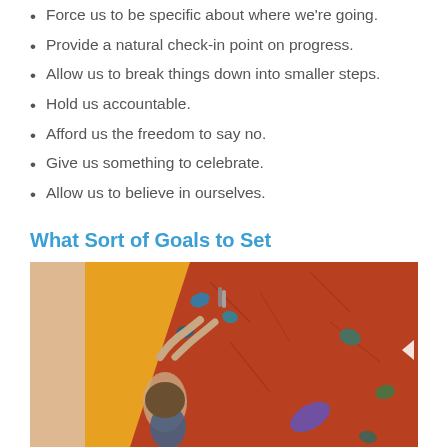Force us to be specific about where we're going.
Provide a natural check-in point on progress.
Allow us to break things down into smaller steps.
Hold us accountable.
Afford us the freedom to say no.
Give us something to celebrate.
Allow us to believe in ourselves.
What Sort of Goals to Set
[Figure (photo): Person climbing an indoor rock climbing wall with orange and red holds]